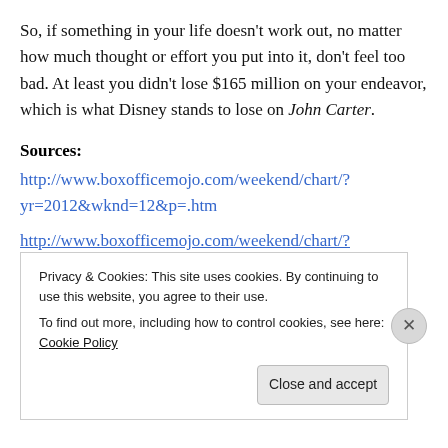So, if something in your life doesn't work out, no matter how much thought or effort you put into it, don't feel too bad. At least you didn't lose $165 million on your endeavor, which is what Disney stands to lose on John Carter.
Sources:
http://www.boxofficemojo.com/weekend/chart/?yr=2012&wknd=12&p=.htm
http://www.boxofficemojo.com/weekend/chart/?
Privacy & Cookies: This site uses cookies. By continuing to use this website, you agree to their use.
To find out more, including how to control cookies, see here: Cookie Policy